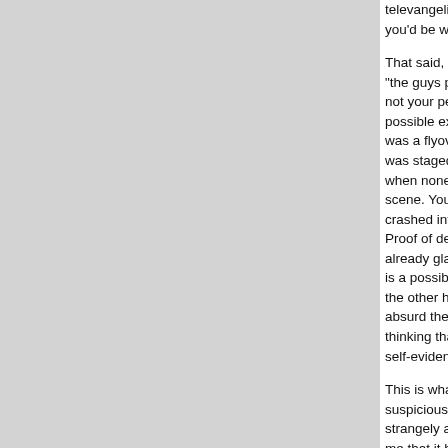televangelis... you'd be we...
That said, I a... "the guys pr... not your per... possible exp... was a flyove... was staged,... when none o... scene. Your... crashed into... Proof of dec... already glari... is a possibili... the other ha... absurd the s... thinking that... self-evident...
This is what... suspicious.... strangely as... me that it ha... surrounding... part of the c... be the subje... other subje...